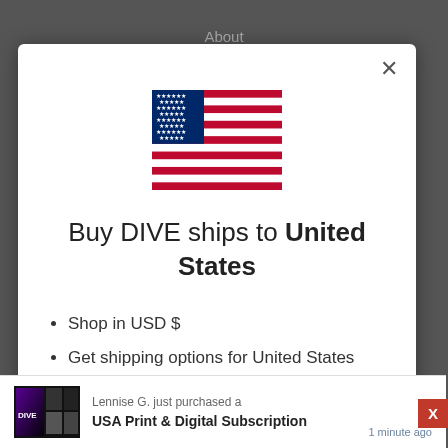About
[Figure (illustration): US flag illustration]
Buy DIVE ships to United States
Shop in USD $
Get shipping options for United States
Shop now
Change shipping country
Lennise G. just purchased a
USA Print & Digital Subscription
1 minute ago